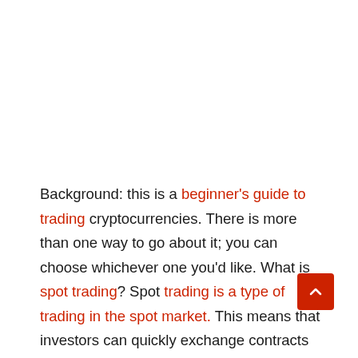Background: this is a beginner's guide to trading cryptocurrencies. There is more than one way to go about it; you can choose whichever one you'd like. What is spot trading? Spot trading is a type of trading in the spot market. This means that investors can quickly exchange contracts with each other without having to wait for a broker to complete the transaction. In spot trading traders don't have to rely on a broker to execute the trade for them.